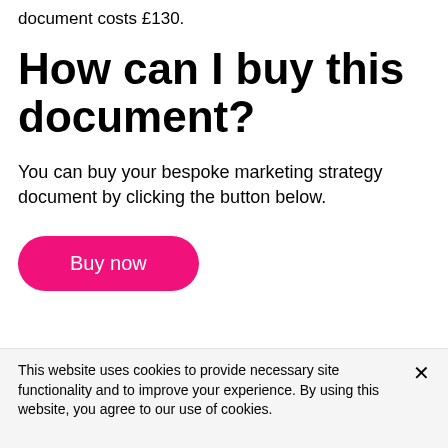document costs £130.
How can I buy this document?
You can buy your bespoke marketing strategy document by clicking the button below.
Buy now
This website uses cookies to provide necessary site functionality and to improve your experience. By using this website, you agree to our use of cookies.